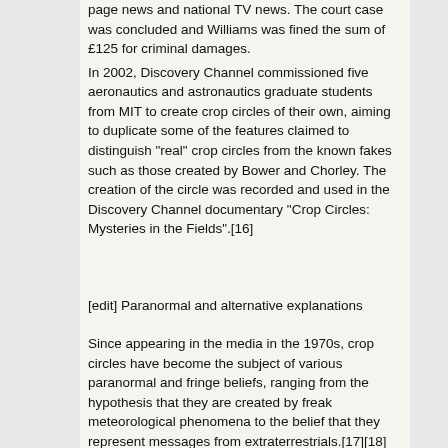page news and national TV news. The court case was concluded and Williams was fined the sum of £125 for criminal damages.
In 2002, Discovery Channel commissioned five aeronautics and astronautics graduate students from MIT to create crop circles of their own, aiming to duplicate some of the features claimed to distinguish "real" crop circles from the known fakes such as those created by Bower and Chorley. The creation of the circle was recorded and used in the Discovery Channel documentary "Crop Circles: Mysteries in the Fields".[16]
[edit] Paranormal and alternative explanations
Since appearing in the media in the 1970s, crop circles have become the subject of various paranormal and fringe beliefs, ranging from the hypothesis that they are created by freak meteorological phenomena to the belief that they represent messages from extraterrestrials.[17][18][19]
Other hypotheses, insufficient to explain myriad circles with clearly discernable images and complex